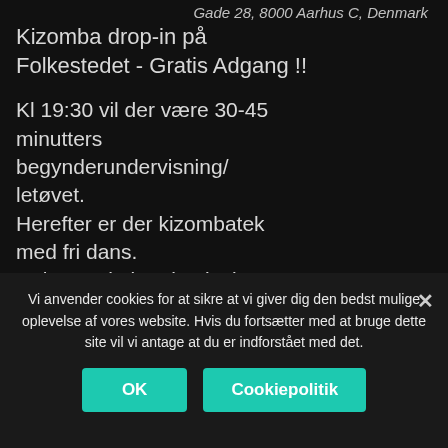Gade 28, 8000 Aarhus C, Denmark
Kizomba drop-in på Folkestedet - Gratis Adgang !!
Kl 19:30 vil der være 30-45 minutters begynderundervisning/letøvet. Herefter er der kizombatek med fri dans. Deltager du i undervisning, betaler du kr. 20,- direkte til
Vi anvender cookies for at sikre at vi giver dig den bedst mulige oplevelse af vores website. Hvis du fortsætter med at bruge dette site vil vi antage at du er indforstået med det.